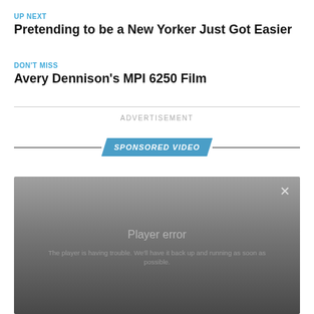UP NEXT
Pretending to be a New Yorker Just Got Easier
DON'T MISS
Avery Dennison's MPI 6250 Film
ADVERTISEMENT
[Figure (other): Sponsored Video banner with blue parallelogram badge reading SPONSORED VIDEO and horizontal divider lines on either side]
[Figure (screenshot): Video player in error state with gray gradient background, close X button, Player error title, and message: The player is having trouble. We'll have it back up and running as soon as possible.]